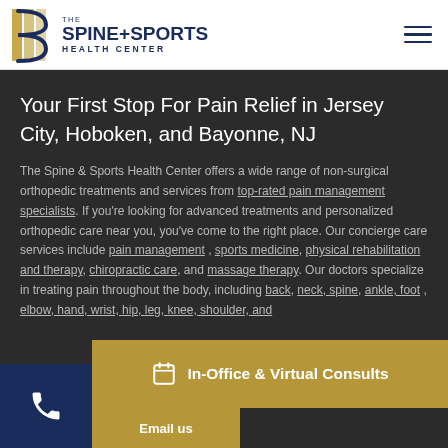[Figure (logo): The Spine+Sports Health Center logo with golden S letterform and navy text]
Your First Stop For Pain Relief in Jersey City, Hoboken, and Bayonne, NJ
The Spine & Sports Health Center offers a wide range of non-surgical orthopedic treatments and services from top-rated pain management specialists. If you're looking for advanced treatments and personalized orthopedic care near you, you've come to the right place. Our concierge care services include pain management, sports medicine, physical rehabilitation and therapy, chiropractic care, and massage therapy. Our doctors specialize in treating pain throughout the body, including back, neck, spine, ankle, foot, elbow, hand, wrist, hip, leg, knee, shoulder, and ... us today in Jers...